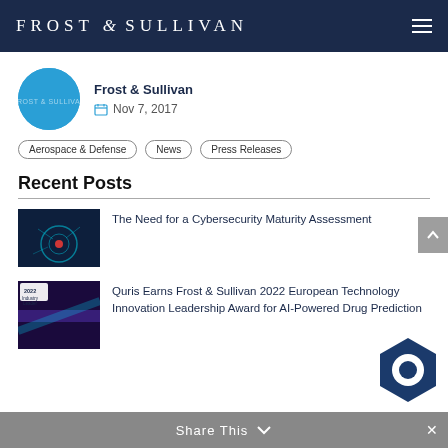FROST & SULLIVAN
Frost & Sullivan
Nov 7, 2017
Aerospace & Defense
News
Press Releases
Recent Posts
The Need for a Cybersecurity Maturity Assessment
Quris Earns Frost & Sullivan 2022 European Technology Innovation Leadership Award for AI-Powered Drug Prediction
Share This